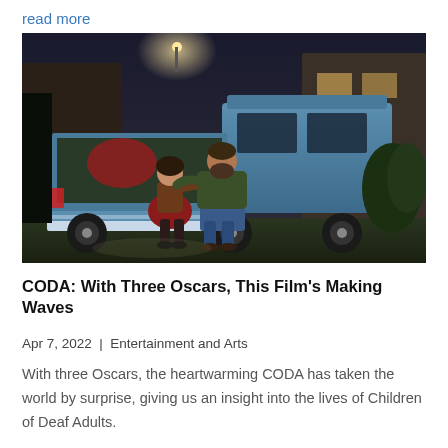read more
[Figure (photo): Two people, a young woman and an older bearded man, sitting together on the open tailgate of a blue pickup truck at night. The woman leans against the man. A house and outdoor lighting are visible in the background.]
CODA: With Three Oscars, This Film's Making Waves
Apr 7, 2022 | Entertainment and Arts
With three Oscars, the heartwarming CODA has taken the world by surprise, giving us an insight into the lives of Children of Deaf Adults.